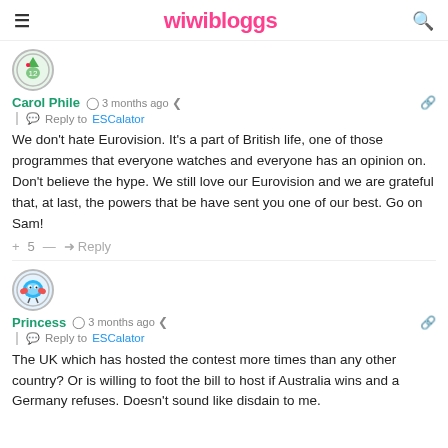wiwibloggs
Carol Phile · 3 months ago · Reply to ESCalator
We don't hate Eurovision. It's a part of British life, one of those programmes that everyone watches and everyone has an opinion on. Don't believe the hype. We still love our Eurovision and we are grateful that, at last, the powers that be have sent you one of our best. Go on Sam!
Princess · 3 months ago · Reply to ESCalator
The UK which has hosted the contest more times than any other country? Or is willing to foot the bill to host if Australia wins and a Germany refuses. Doesn't sound like disdain to me.